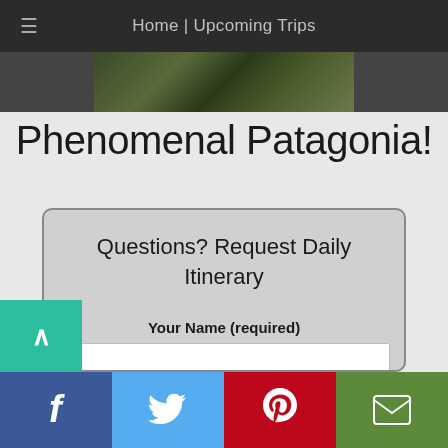Home | Upcoming Trips
[Figure (photo): Partial image strip showing nature/landscape scene at top of page]
Phenomenal Patagonia!
Questions? Request Daily Itinerary
Your Name (required)
Your Email (required)